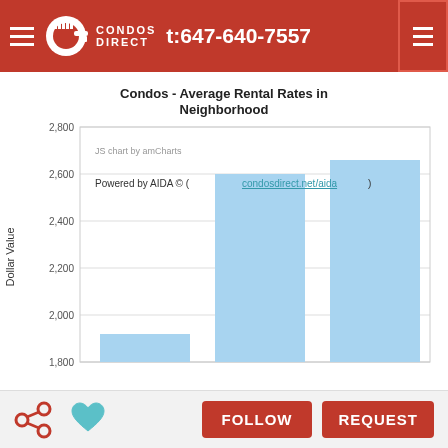CONDOS DIRECT t:647-640-7557
[Figure (bar-chart): Condos - Average Rental Rates in Neighborhood]
FOLLOW  REQUEST